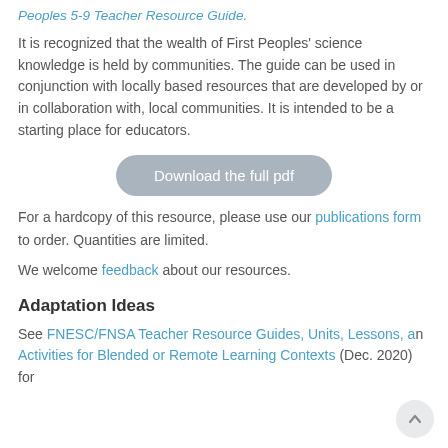Peoples 5-9 Teacher Resource Guide.
It is recognized that the wealth of First Peoples' science knowledge is held by communities. The guide can be used in conjunction with locally based resources that are developed by or in collaboration with, local communities. It is intended to be a starting place for educators.
[Figure (other): Download the full pdf button - rounded rectangle button with gray background]
For a hardcopy of this resource, please use our publications form to order. Quantities are limited.
We welcome feedback about our resources.
Adaptation Ideas
See FNESC/FNSA Teacher Resource Guides, Units, Lessons, and Activities for Blended or Remote Learning Contexts (Dec. 2020) for